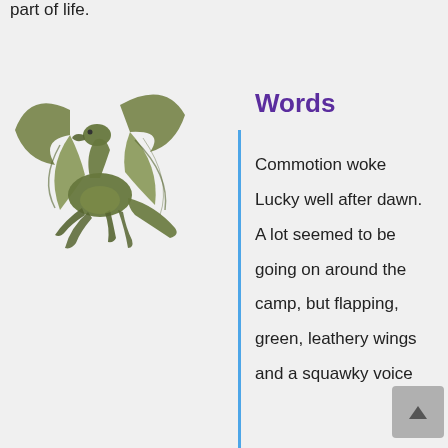part of life.
[Figure (illustration): A green dragon with leathery wings spread open, flying, viewed from the side-front angle.]
Words
Commotion woke Lucky well after dawn. A lot seemed to be going on around the camp, but flapping, green, leathery wings and a squawky voice